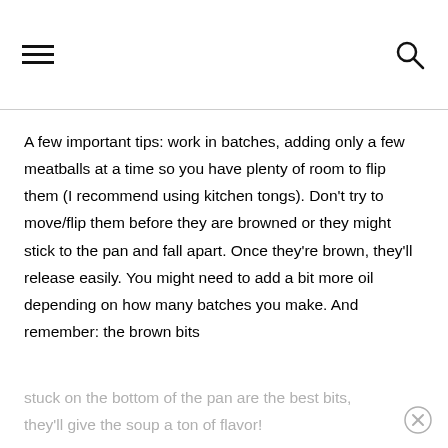≡  🔍
A few important tips: work in batches, adding only a few meatballs at a time so you have plenty of room to flip them (I recommend using kitchen tongs). Don't try to move/flip them before they are browned or they might stick to the pan and fall apart. Once they're brown, they'll release easily. You might need to add a bit more oil depending on how many batches you make. And remember: the brown bits
stuck on the bottom of the pan are the best bits, they'll give the soup a ton of flavor!